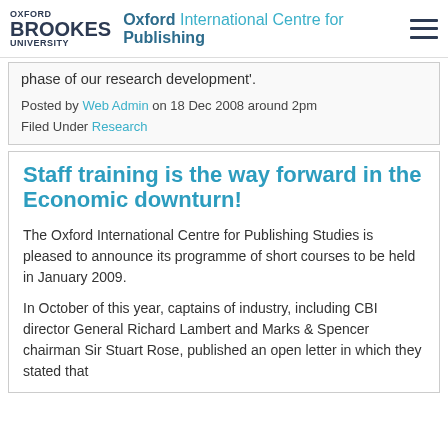OXFORD BROOKES UNIVERSITY — Oxford International Centre for Publishing
phase of our research development'.
Posted by Web Admin on 18 Dec 2008 around 2pm
Filed Under Research
Staff training is the way forward in the Economic downturn!
The Oxford International Centre for Publishing Studies is pleased to announce its programme of short courses to be held in January 2009.
In October of this year, captains of industry, including CBI director General Richard Lambert and Marks & Spencer chairman Sir Stuart Rose, published an open letter in which they stated that